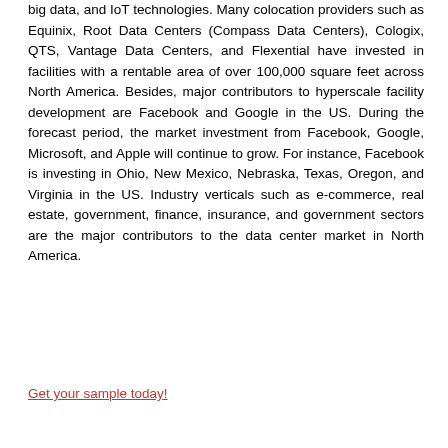big data, and IoT technologies. Many colocation providers such as Equinix, Root Data Centers (Compass Data Centers), Cologix, QTS, Vantage Data Centers, and Flexential have invested in facilities with a rentable area of over 100,000 square feet across North America. Besides, major contributors to hyperscale facility development are Facebook and Google in the US. During the forecast period, the market investment from Facebook, Google, Microsoft, and Apple will continue to grow. For instance, Facebook is investing in Ohio, New Mexico, Nebraska, Texas, Oregon, and Virginia in the US. Industry verticals such as e-commerce, real estate, government, finance, insurance, and government sectors are the major contributors to the data center market in North America.
Get your sample today!